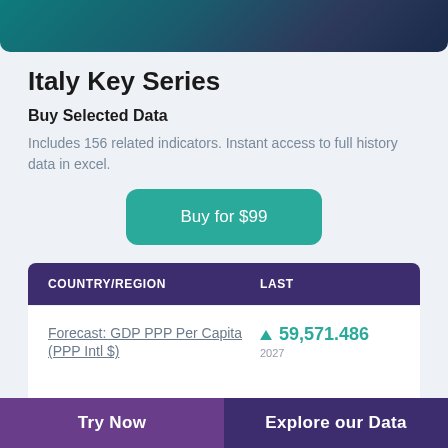[Figure (photo): Teal and dark blue gradient banner image at top of page]
Italy Key Series
Buy Selected Data
Includes 156 related indicators. Instant access to full history data in excel.
Buy for $99
| COUNTRY/REGION | LAST |
| --- | --- |
| Forecast: GDP PPP Per Capita (PPP Intl $) | ▲ 59,571.486 2027 |
| Forecast: Nominal GDP | ▲ 42,797,320 |
Try Now   Explore our Data